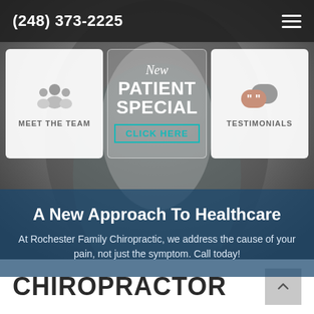(248) 373-2225
[Figure (illustration): Group of people silhouette icon (gray)]
MEET THE TEAM
[Figure (illustration): New Patient Special - Click Here button in center card overlay]
[Figure (illustration): Chat bubble / testimonials icon with quotation marks]
TESTIMONIALS
A New Approach To Healthcare
At Rochester Family Chiropractic, we address the cause of your pain, not just the symptom. Call today!
CHIROPRACTOR